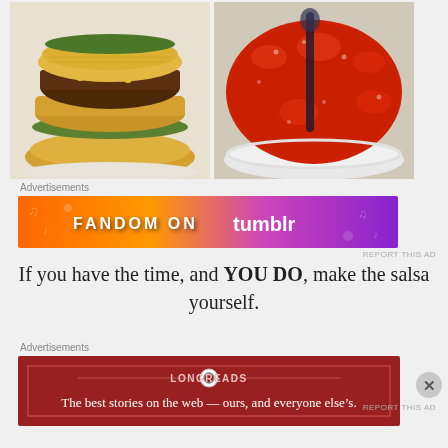[Figure (photo): Two food photos side by side: left shows stacked corn tortilla tacos with meat, corn, and bean filling with green lettuce visible; right shows a bowl of chunky red tomato salsa with a spoon]
Advertisements
[Figure (other): Advertisement banner: FANDOM ON tumblr, colorful orange to purple gradient background with decorative music notes and hearts]
REPORT THIS AD
If you have the time, and YOU DO, make the salsa yourself.
Advertisements
[Figure (other): Longreads advertisement on dark red background: The best stories on the web — ours, and everyone else's.]